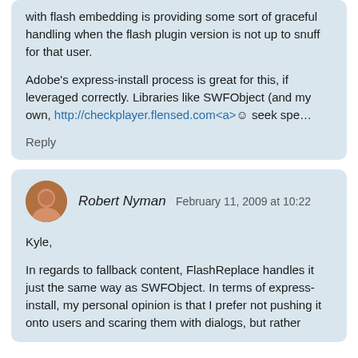with flash embedding is providing some sort of graceful handling when the flash plugin version is not up to snuff for that user.
Adobe's express-install process is great for this, if leveraged correctly. Libraries like SWFObject (and my own, http://checkplayer.flensed.com<a&gt;☺ seek spe…
Reply
Robert Nyman  February 11, 2009 at 10:22
Kyle,
In regards to fallback content, FlashReplace handles it just the same way as SWFObject. In terms of express-install, my personal opinion is that I prefer not pushing it onto users and scaring them with dialogs, but rather